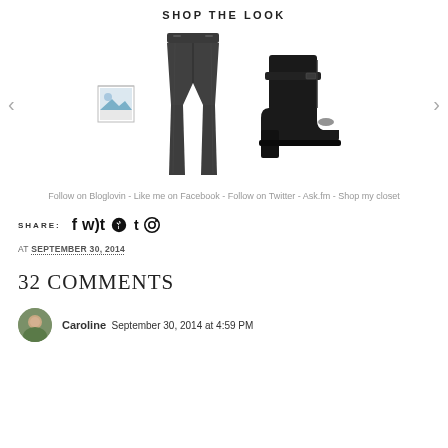SHOP THE LOOK
[Figure (photo): Fashion carousel showing placeholder image thumbnail, dark charcoal skinny jeans, and black chunky heel ankle boot, with left and right navigation arrows]
Follow on Bloglovin - Like me on Facebook - Follow on Twitter - Ask.fm - Shop my closet
SHARE:  f  t  p
AT SEPTEMBER 30, 2014
32 COMMENTS
Caroline  September 30, 2014 at 4:59 PM